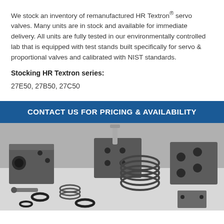We stock an inventory of remanufactured HR Textron® servo valves. Many units are in stock and available for immediate delivery. All units are fully tested in our environmentally controlled lab that is equipped with test stands built specifically for servo & proportional valves and calibrated with NIST standards.
Stocking HR Textron series:
27E50, 27B50, 27C50
[Figure (photo): Blue banner reading 'CONTACT US FOR PRICING & AVAILABILITY' above a black and white photo of remanufactured servo valve parts including metal blocks with holes, coil springs, O-rings, and small mechanical components laid out on a surface.]